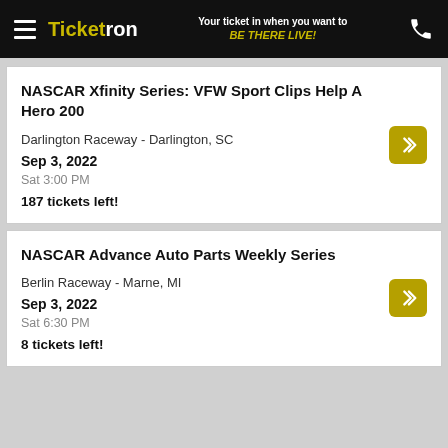Ticketron — Your ticket in when you want to BE THERE LIVE!
NASCAR Xfinity Series: VFW Sport Clips Help A Hero 200
Darlington Raceway - Darlington, SC
Sep 3, 2022
Sat 3:00 PM
187 tickets left!
NASCAR Advance Auto Parts Weekly Series
Berlin Raceway - Marne, MI
Sep 3, 2022
Sat 6:30 PM
8 tickets left!